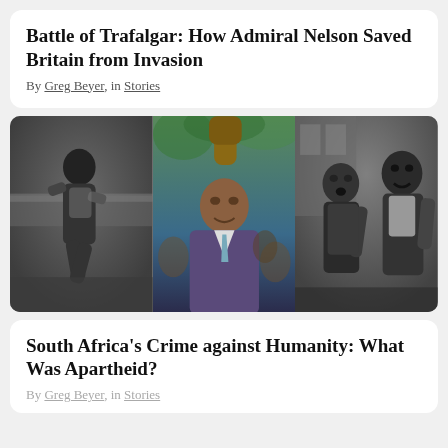Battle of Trafalgar: How Admiral Nelson Saved Britain from Invasion
By Greg Beyer, in Stories
[Figure (photo): Three historical black-and-white and color photographs: left panel shows a Black soldier or activist in combat gear running; center panel shows Nelson Mandela raising his fist in a colorized photo; right panel shows two Black women, one appearing to be shouting, in a black-and-white photo.]
South Africa's Crime against Humanity: What Was Apartheid?
By Greg Beyer, in Stories